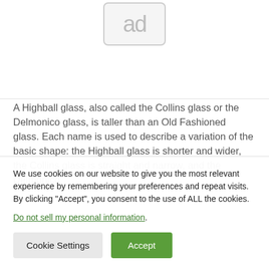[Figure (other): Placeholder ad image icon showing 'ad' text in a rounded rectangle]
A Highball glass, also called the Collins glass or the Delmonico glass, is taller than an Old Fashioned glass. Each name is used to describe a variation of the basic shape: the Highball glass is shorter and wider, the Collins glass is straight and narrow, and the Delmonico
We use cookies on our website to give you the most relevant experience by remembering your preferences and repeat visits. By clicking “Accept”, you consent to the use of ALL the cookies.
Do not sell my personal information.
Cookie Settings
Accept